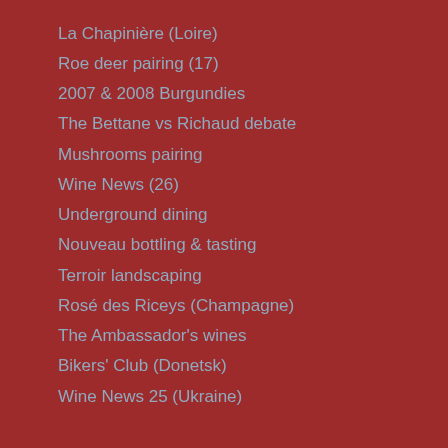La Chapinière (Loire)
Roe deer pairing (17)
2007 & 2008 Burgundies
The Bettane vs Richaud debate
Mushrooms pairing
Wine News (26)
Underground dining
Nouveau bottling & tasting
Terroir landscaping
Rosé des Riceys (Champagne)
The Ambassador's wines
Bikers' Club (Donetsk)
Wine News 25 (Ukraine)